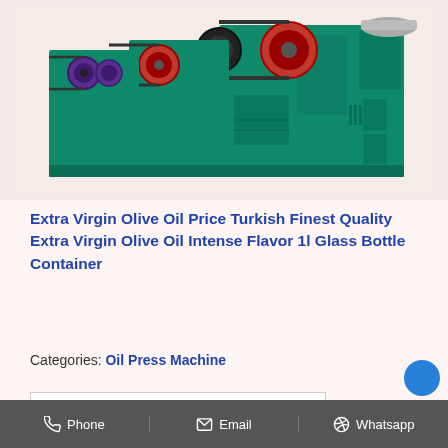[Figure (photo): Industrial oil press machines in green color with red and black wheel/pulley mechanisms, multiple units lined up]
Extra Virgin Olive Oil Price Turkish Finest Quality Extra Virgin Olive Oil Intense Flavor 1l Glass Bottle Container
Categories: Oil Press Machine
Buy Thc Extraction Machine
Coconut Oil Making Machine Price
Phone   Email   Whatsapp